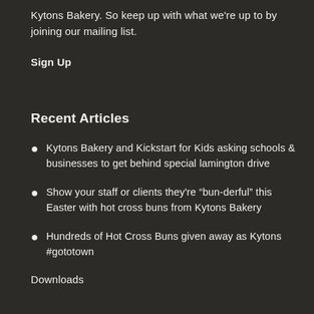Kytons Bakery. So keep up with what we're up to by joining our mailing list.
Sign Up
Recent Articles
Kytons Bakery and Kickstart for Kids asking schools & businesses to get behind special lamington drive
Show your staff or clients they're “bun-derful” this Easter with hot cross buns from Kytons Bakery
Hundreds of Hot Cross Buns given away as Kytons #gototown
Downloads